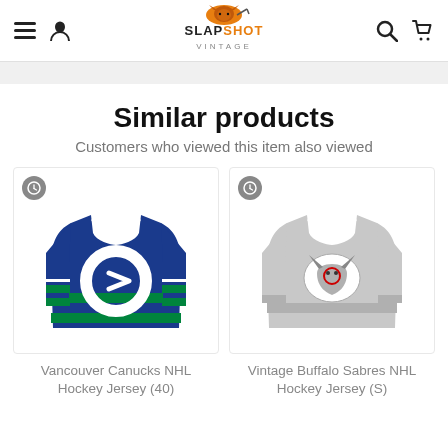Slapshot Vintage — navigation header with menu, account, search, cart icons and logo
Similar products
Customers who viewed this item also viewed
[Figure (photo): Vancouver Canucks NHL hockey jersey — blue and green with Canucks C logo]
[Figure (photo): Vintage Buffalo Sabres NHL hockey jersey — grey with Buffalo Sabres goathead logo]
Vancouver Canucks NHL Hockey Jersey (40)
Vintage Buffalo Sabres NHL Hockey Jersey (S)